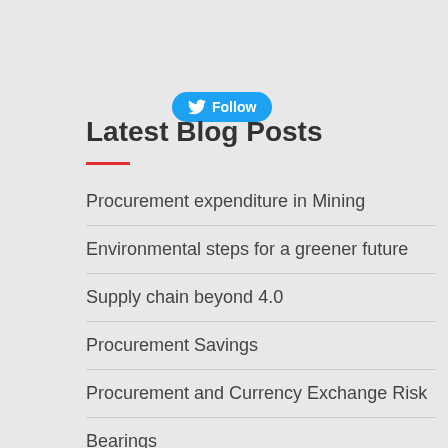[Figure (other): Twitter Follow button in blue with bird icon]
Latest Blog Posts
Procurement expenditure in Mining
Environmental steps for a greener future
Supply chain beyond 4.0
Procurement Savings
Procurement and Currency Exchange Risk
Bearings
Toners
Customer Portal
Customer Area